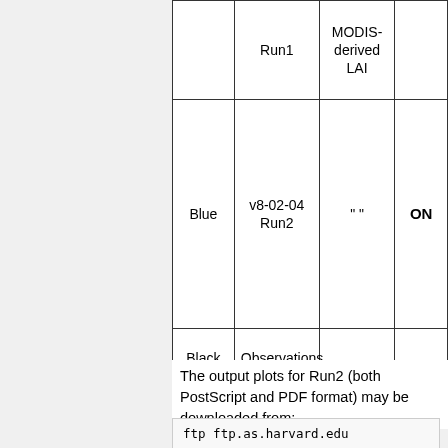| Color | Run | LAI | Switch |
| --- | --- | --- | --- |
|  | Run1 | MODIS-derived LAI |  |
| Blue | v8-02-04
Run2 | " " | ON |
| Black | Observations |  |  |
The output plots for Run2 (both PostScript and PDF format) may be downloaded from:
ftp ftp.as.harvard.edu
cd pub/geos-chem/1yr_benchmarks
mget *